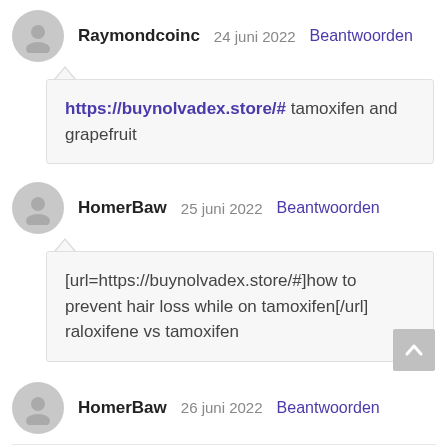Raymondcoinc  24 juni 2022  Beantwoorden
https://buynolvadex.store/# tamoxifen and grapefruit
HomerBaw  25 juni 2022  Beantwoorden
[url=https://buynolvadex.store/#]how to prevent hair loss while on tamoxifen[/url] raloxifene vs tamoxifen
HomerBaw  26 juni 2022  Beantwoorden